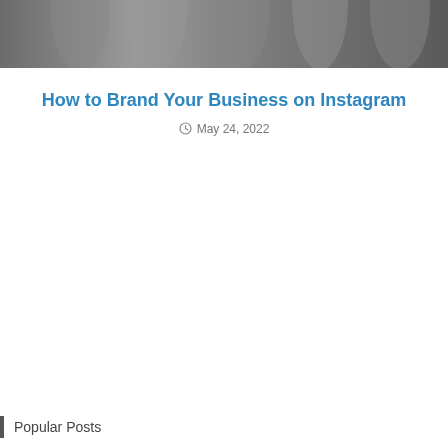[Figure (photo): Grayscale hero image at the top of the page, showing a blurred close-up of hands or fingers, serving as a decorative banner.]
How to Brand Your Business on Instagram
May 24, 2022
Popular Posts